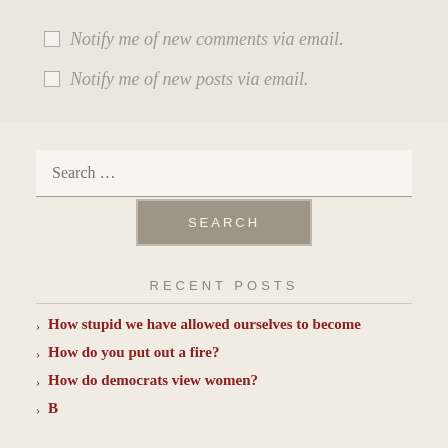Notify me of new comments via email.
Notify me of new posts via email.
[Figure (other): Search bar with text input field showing placeholder 'Search ...' and a SEARCH button below]
RECENT POSTS
How stupid we have allowed ourselves to become
How do you put out a fire?
How do democrats view women?
(partial item cut off)